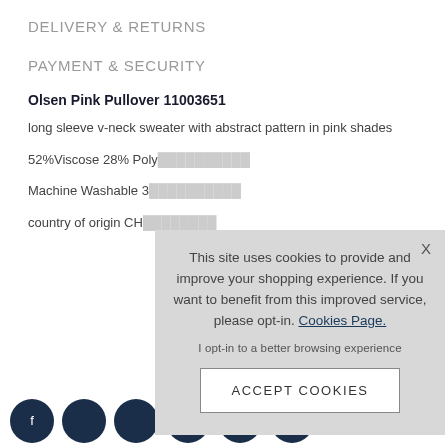DELIVERY & RETURNS
PAYMENT & SECURITY
Olsen Pink Pullover 11003651
long sleeve v-neck sweater with abstract pattern in pink shades
52%Viscose 28% Poly...
Machine Washable 30...
country of origin CH
This site uses cookies to provide and improve your shopping experience. If you want to benefit from this improved service, please opt-in. Cookies Page.
I opt-in to a better browsing experience
ACCEPT COOKIES